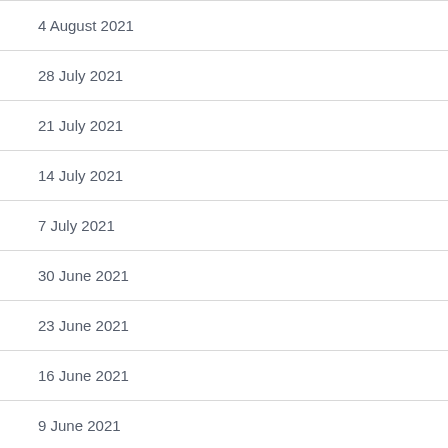4 August 2021
28 July 2021
21 July 2021
14 July 2021
7 July 2021
30 June 2021
23 June 2021
16 June 2021
9 June 2021